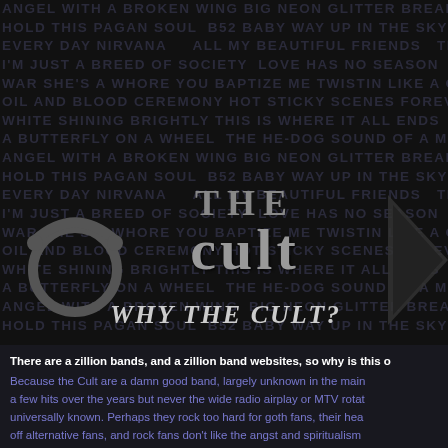[Figure (illustration): Dark background with repeated song title text in dark gray/purple forming the page background. Overlaid with a Taurus zodiac symbol on the left, 'THE CULT' band logo in the center, a geometric arrow shape on the right, and 'WHY THE CULT?' text at the bottom of the image area.]
There are a zillion bands, and a zillion band websites, so why is this one special? Because the Cult are a damn good band, largely unknown in the mainstream. They had a few hits over the years but never the wide radio airplay or MTV rotation that makes a band universally known. Perhaps they rock too hard for goth fans, their heavy guitar sound turns off alternative fans, and rock fans don't like the angst and spiritualism that runs through their music.